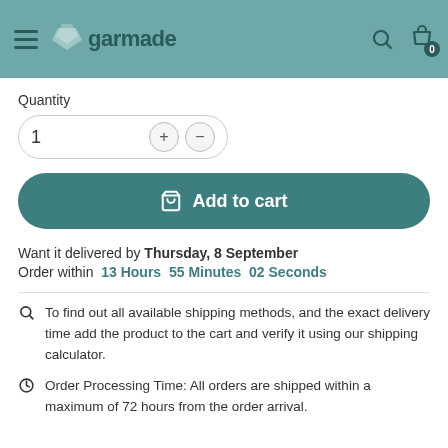garmade
Quantity
Add to cart
Want it delivered by Thursday, 8 September
Order within 13 Hours 55 Minutes 02 Seconds
To find out all available shipping methods, and the exact delivery time add the product to the cart and verify it using our shipping calculator.
Order Processing Time: All orders are shipped within a maximum of 72 hours from the order arrival.